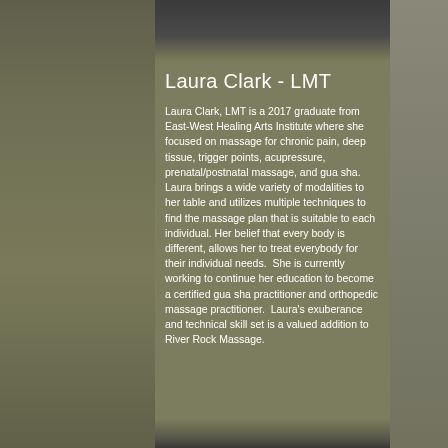[Figure (photo): Portrait photo of Laura Clark, partially visible at top]
Laura Clark - LMT
Laura Clark, LMT is a 2017 graduate from East-West Healing Arts Institute where she focused on massage for chronic pain, deep tissue, trigger points, acupressure, prenatal/postnatal massage, and gua sha. Laura brings a wide variety of modalities to her table and utilizes multiple techniques to find the massage plan that is suitable to each individual. Her belief that every body is different, allows her to treat everybody for their individual needs.  She is currently working to continue her education to become a certified gua sha practitioner and orthopedic massage practitioner.  Laura's exuberance and technical skill set is a valued addition to River Rock Massage.
[Figure (photo): Another photo partially visible at bottom of page]